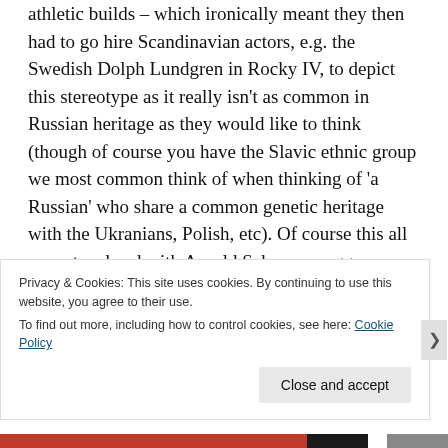athletic builds – which ironically meant they then had to go hire Scandinavian actors, e.g. the Swedish Dolph Lundgren in Rocky IV, to depict this stereotype as it really isn't as common in Russian heritage as they would like to think (though of course you have the Slavic ethnic group we most common think of when thinking of 'a Russian' who share a common genetic heritage with the Ukranians, Polish, etc). Of course this all came to a head with Arnold Schwarzenegger, a universally well known Austrian, in Red Heat. The irony being that, in the Soviet era, they depicted Americans in much the same way, overtly tall and muscular
Privacy & Cookies: This site uses cookies. By continuing to use this website, you agree to their use.
To find out more, including how to control cookies, see here: Cookie Policy
Close and accept